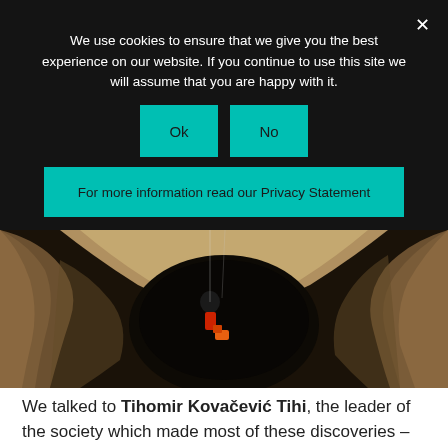We use cookies to ensure that we give you the best experience on our website. If you continue to use this site we will assume that you are happy with it.
Ok
No
For more information read our Privacy Statement
[Figure (photo): Cave interior seen from above showing a person in red/orange gear descending into a dark pit surrounded by rocky walls]
We talked to Tihomir Kovačević Tihi, the leader of the society which made most of these discoveries – DINARIDI – Society for the research, surveying and filming of karst phenomena, a multidisciplinary society of speleologists, other experts and surveyors who focus on speleology and relevant research and